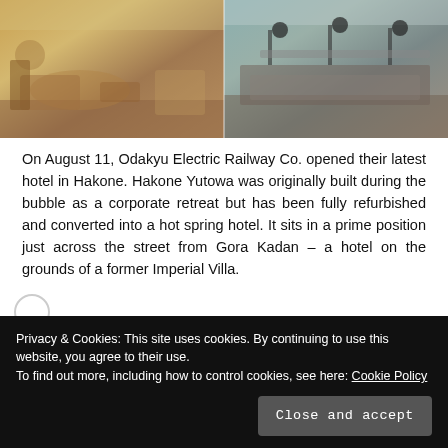[Figure (photo): Two hotel interior photos side by side: left shows a lobby/lounge area with warm wooden tones and seating; right shows a dining area with dark pendant lights and a long table with chairs.]
On August 11, Odakyu Electric Railway Co. opened their latest hotel in Hakone. Hakone Yutowa was originally built during the bubble as a corporate retreat but has been fully refurbished and converted into a hot spring hotel. It sits in a prime position just across the street from Gora Kadan – a hotel on the grounds of a former Imperial Villa.
Privacy & Cookies: This site uses cookies. By continuing to use this website, you agree to their use.
To find out more, including how to control cookies, see here: Cookie Policy
Close and accept